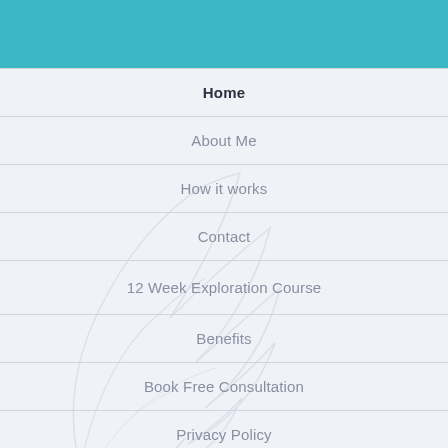Home
About Me
How it works
Contact
12 Week Exploration Course
Benefits
Book Free Consultation
Privacy Policy